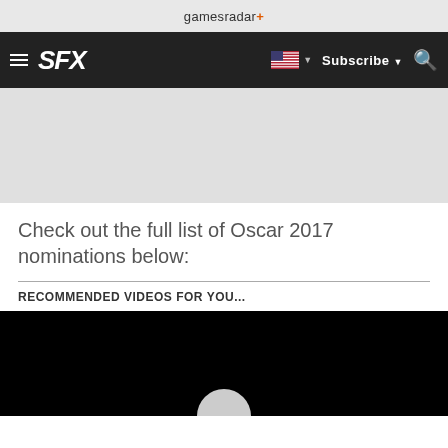gamesradar+
[Figure (screenshot): SFX website navigation bar with hamburger menu, SFX logo, US flag dropdown, Subscribe button, and search icon on dark background]
Check out the full list of Oscar 2017 nominations below:
RECOMMENDED VIDEOS FOR YOU...
[Figure (screenshot): Black video player area with a gray semicircular play button partially visible at the bottom center]